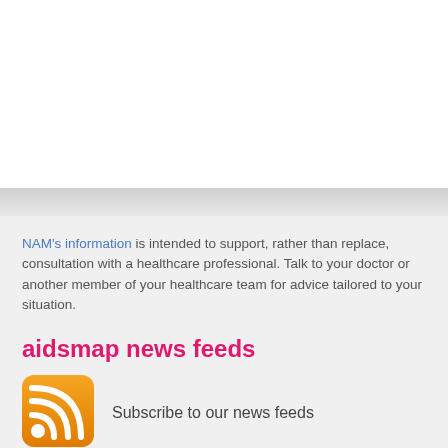NAM's information is intended to support, rather than replace, consultation with a healthcare professional. Talk to your doctor or another member of your healthcare team for advice tailored to your situation.
aidsmap news feeds
Subscribe to our news feeds
Email updates
Get the latest HIV news delivered to your